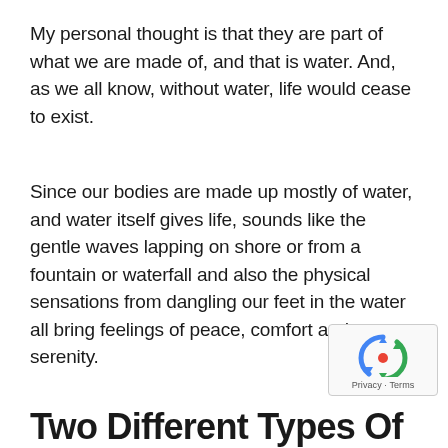My personal thought is that they are part of what we are made of, and that is water. And, as we all know, without water, life would cease to exist.
Since our bodies are made up mostly of water, and water itself gives life, sounds like the gentle waves lapping on shore or from a fountain or waterfall and also the physical sensations from dangling our feet in the water all bring feelings of peace, comfort and serenity.
Two Different Types Of